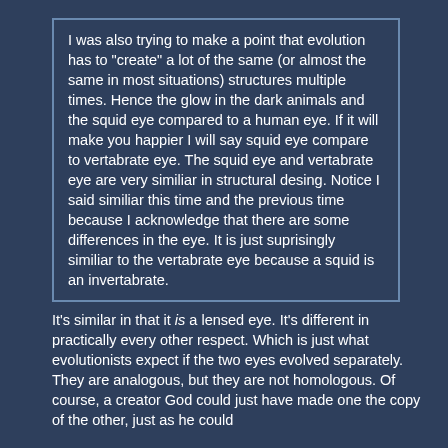I was also trying to make a point that evolution has to "create" a lot of the same (or almost the same in most situations) structures multiple times. Hence the glow in the dark animals and the squid eye compared to a human eye. If it will make you happier I will say squid eye compare to vertabrate eye. The squid eye and vertabrate eye are very similiar in structural desing. Notice I said similiar this time and the previous time because I acknowledge that there are some differences in the eye. It is just suprisingly similiar to the vertabrate eye because a squid is an invertabrate.
It's similar in that it is a lensed eye. It's different in practically every other respect. Which is just what evolutionists expect if the two eyes evolved separately. They are analogous, but they are not homologous. Of course, a creator God could just have made one the copy of the other, just as he could